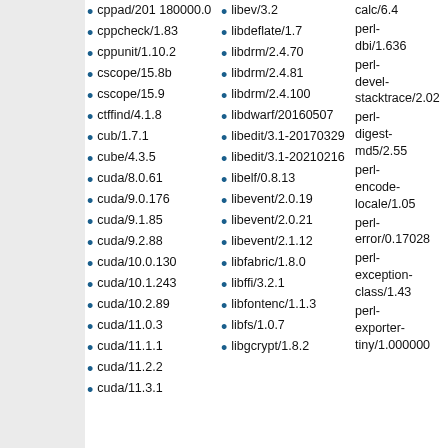cppad/20180000.0
cppcheck/1.83
cppunit/1.10.2
cscope/15.8b
cscope/15.9
ctffind/4.1.8
cub/1.7.1
cube/4.3.5
cuda/8.0.61
cuda/9.0.176
cuda/9.1.85
cuda/9.2.88
cuda/10.0.130
cuda/10.1.243
cuda/10.2.89
cuda/11.0.3
cuda/11.1.1
cuda/11.2.2
cuda/11.3.1
libev/3.2
libdeflate/1.7
libdrm/2.4.70
libdrm/2.4.81
libdrm/2.4.100
libdwarf/20160507
libedit/3.1-20170329
libedit/3.1-20210216
libelf/0.8.13
libevent/2.0.19
libevent/2.0.21
libevent/2.1.12
libfabric/1.8.0
libffi/3.2.1
libfontenc/1.1.3
libfs/1.0.7
libgcrypt/1.8.2
calc/6.4
perl-dbi/1.636
perl-devel-stacktrace/2.02
perl-digest-md5/2.55
perl-encode-locale/1.05
perl-error/0.17028
perl-exception-class/1.43
perl-exporter-tiny/1.000000
sqlite/3...
sqlite/3...
sqlite/3...
sra-toolkit/2...
sra-toolkit/2...1
sra-toolkit/2...
sra-toolkit/2...
stacks/2...
star/2.5...
star/2.7...
star/2.7...
sublime text/2.0...
subread/...